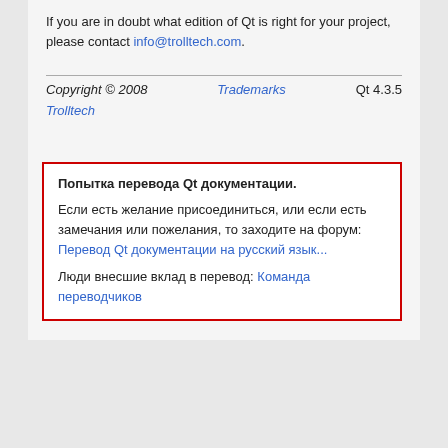If you are in doubt what edition of Qt is right for your project, please contact info@trolltech.com.
Copyright © 2008 Trolltech    Trademarks    Qt 4.3.5
Попытка перевода Qt документации. Если есть желание присоединиться, или если есть замечания или пожелания, то заходите на форум: Перевод Qt документации на русский язык... Люди внесшие вклад в перевод: Команда переводчиков